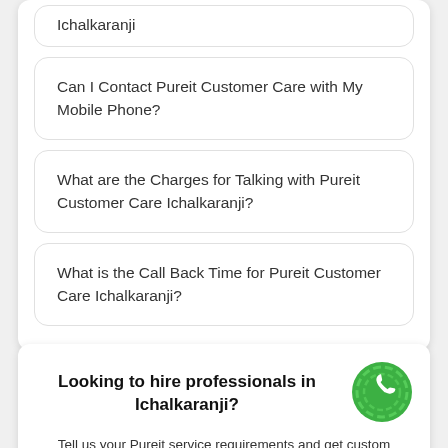Ichalkaranji
Can I Contact Pureit Customer Care with My Mobile Phone?
What are the Charges for Talking with Pureit Customer Care Ichalkaranji?
What is the Call Back Time for Pureit Customer Care Ichalkaranji?
Looking to hire professionals in Ichalkaranji?
Tell us your Pureit service requirements and get custom